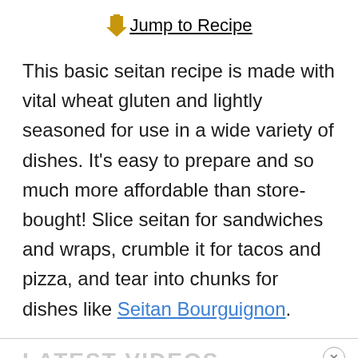⬇ Jump to Recipe
This basic seitan recipe is made with vital wheat gluten and lightly seasoned for use in a wide variety of dishes. It's easy to prepare and so much more affordable than store-bought! Slice seitan for sandwiches and wraps, crumble it for tacos and pizza, and tear into chunks for dishes like Seitan Bourguignon.
LATEST VIDEOS